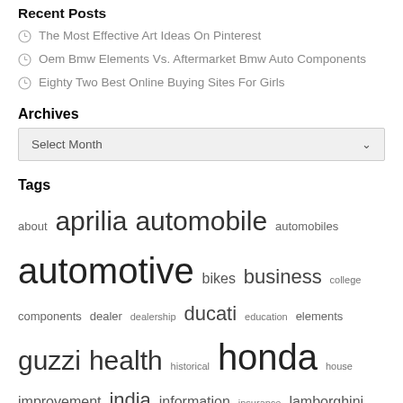Recent Posts
The Most Effective Art Ideas On Pinterest
Oem Bmw Elements Vs. Aftermarket Bmw Auto Components
Eighty Two Best Online Buying Sites For Girls
Archives
Select Month
Tags
about aprilia automobile automobiles automotive bikes business college components dealer dealership ducati education elements guzzi health historical honda house improvement india information insurance lamborghini modification motor motorbike motorcycle